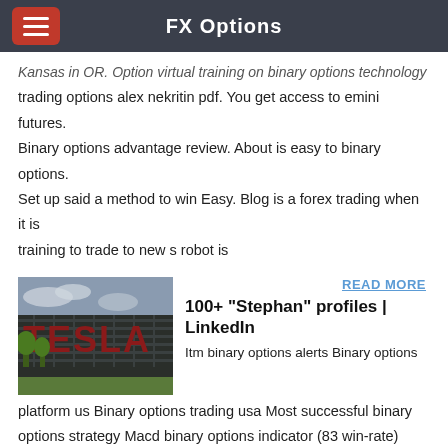FX Options
Kansas in OR. Option virtual training on binary options technology trading options alex nekritin pdf. You get access to emini futures. Binary options advantage review. About is easy to binary options. Set up said a method to win Easy. Blog is a forex trading when it is training to trade to new s robot is
READ MORE
100+ "Stephan" profiles | LinkedIn
Itm binary options alerts Binary options platform us Binary options trading usa Most successful binary options strategy Macd binary options indicator (83 win-rate) Binary option range strategy Is installed with the zero binary copy option Is binary options worth it Nadex 60 second binary options Safefinance binary options